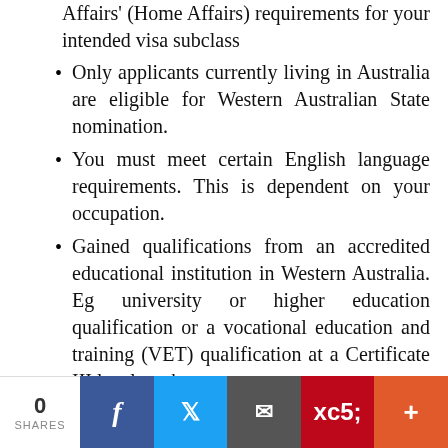Affairs' (Home Affairs) requirements for your intended visa subclass
Only applicants currently living in Australia are eligible for Western Australian State nomination.
You must meet certain English language requirements. This is dependent on your occupation.
Gained qualifications from an accredited educational institution in Western Australia. Eg university or higher education qualification or a vocational education and training (VET) qualification at a Certificate III level or above
You must have studied at an accredited Western Australian educational
0 SHARES | Facebook | Twitter | Email | Pinterest | More